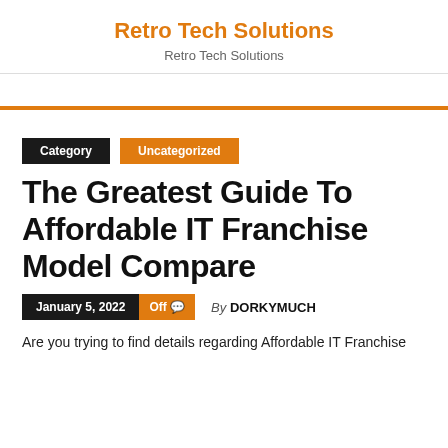Retro Tech Solutions
Retro Tech Solutions
Category   Uncategorized
The Greatest Guide To Affordable IT Franchise Model Compare
January 5, 2022   Off   By DORKYMUCH
Are you trying to find details regarding Affordable IT Franchise